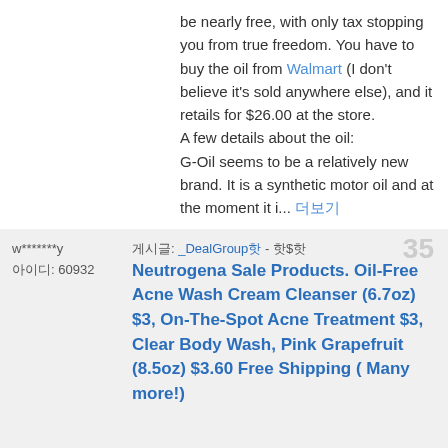be nearly free, with only tax stopping you from true freedom. You have to buy the oil from Walmart (I don't believe it's sold anywhere else), and it retails for $26.00 at the store.
A few details about the oil:
G-Oil seems to be a relatively new brand. It is a synthetic motor oil and at the moment it i... 더보기
w*******y
아이디: 60932
35
게시글: _DealGroup핫 - 핫$핫Neutrogena Sale Products. Oil-Free Acne Wash Cream Cleanser (6.7oz) $3, On-The-Spot Acne Treatment $3, Clear Body Wash, Pink Grapefruit (8.5oz) $3.60 Free Shipping ( Many more!)
Amazon currently has many Neutrogena Sale Products. As always, 15% Save and Subscribe+$1.50 Clipping Coupon+Free Shipping on all items. Decided to make a list for your convenience.
Neutrogena Oil-Free Acne Wash Cream Cleanser, 6.7-